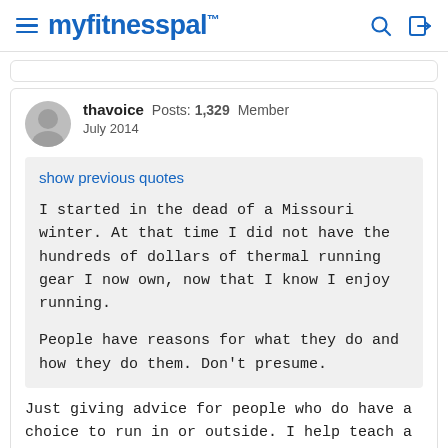myfitnesspal
thavoice  Posts: 1,329  Member
July 2014
show previous quotes
I started in the dead of a Missouri winter. At that time I did not have the hundreds of dollars of thermal running gear I now own, now that I know I enjoy running.

People have reasons for what they do and how they do them. Don't presume.
Just giving advice for people who do have a choice to run in or outside. I help teach a